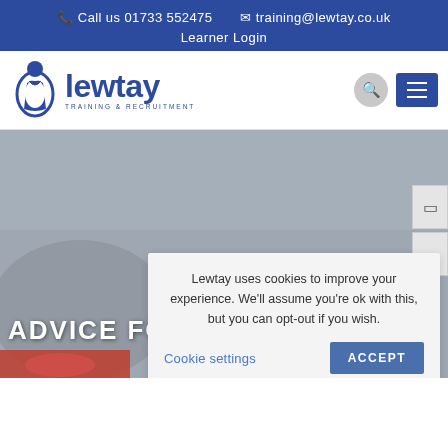Call us 01733 552475   training@lewtay.co.uk   Learner Login
[Figure (logo): Lewtay Training & Recruitment logo with person icon]
[Figure (photo): Hero background image of a car interior/driving scene with text ADVICE FO... overlaid]
Lewtay uses cookies to improve your experience. We'll assume you're ok with this, but you can opt-out if you wish.
Cookie settings   ACCEPT